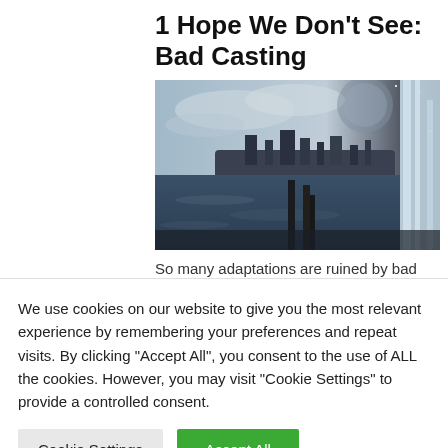1 Hope We Don't See: Bad Casting
[Figure (photo): A fantasy/sci-fi scene showing a dark island city with structures visible against a dramatic sky, water in the foreground with a waterfall effect on the right edge.]
So many adaptations are ruined by bad casting and we're hoping this doesn't happen here. But let's hope...
We use cookies on our website to give you the most relevant experience by remembering your preferences and repeat visits. By clicking "Accept All", you consent to the use of ALL the cookies. However, you may visit "Cookie Settings" to provide a controlled consent.